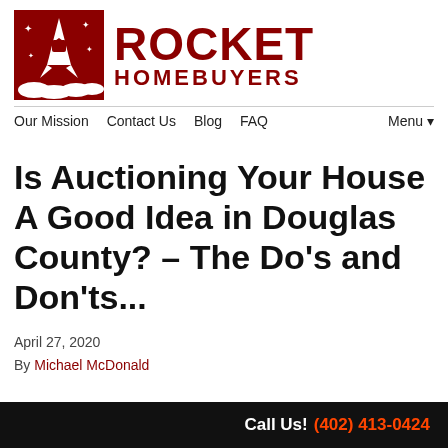[Figure (logo): Rocket Homebuyers logo: dark red square with rocket ship illustration, stars, and a house icon on the rocket. Text reads ROCKET HOMEBUYERS in bold dark red.]
Our Mission   Contact Us   Blog   FAQ   Menu ▾
Is Auctioning Your House A Good Idea in Douglas County? – The Do's and Don'ts...
April 27, 2020
By Michael McDonald
Call Us! (402) 413-0424